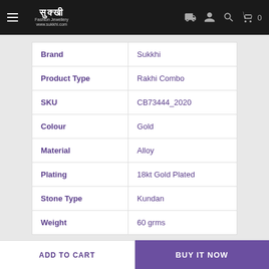Sukkhi Fashion Jewellery www.sukkhi.com — navigation bar with hamburger menu, delivery icon, account icon, search icon, cart (0)
| Attribute | Value |
| --- | --- |
| Brand | Sukkhi |
| Product Type | Rakhi Combo |
| SKU | CB73444_2020 |
| Colour | Gold |
| Material | Alloy |
| Plating | 18kt Gold Plated |
| Stone Type | Kundan |
| Weight | 60 grms |
ADD TO CART | BUY IT NOW